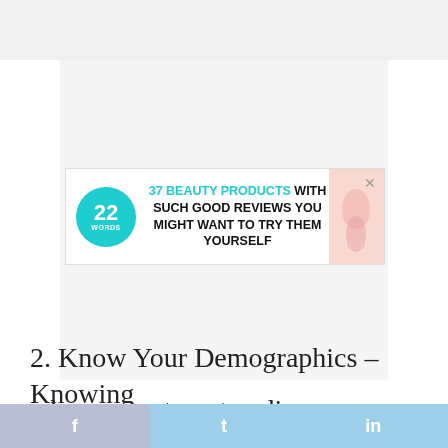[Figure (screenshot): Advertisement banner for '37 Beauty Products with such good reviews you might want to try them yourself' from 22Words, with teal circle logo and product image on right, with close button]
2. Know Your Demographics – Knowing where your target audience resides will
f  t  in